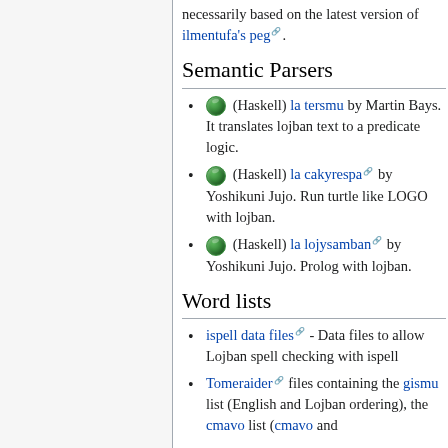necessarily based on the latest version of ilmentufa's peg.
Semantic Parsers
(Haskell) la tersmu by Martin Bays. It translates lojban text to a predicate logic.
(Haskell) la cakyrespa by Yoshikuni Jujo. Run turtle like LOGO with lojban.
(Haskell) la lojysamban by Yoshikuni Jujo. Prolog with lojban.
Word lists
ispell data files - Data files to allow Lojban spell checking with ispell
Tomeraider files containing the gismu list (English and Lojban ordering), the cmavo list (cmavo and